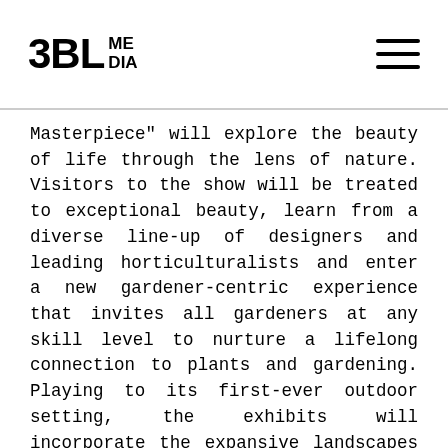3BL MEDIA
Masterpiece" will explore the beauty of life through the lens of nature. Visitors to the show will be treated to exceptional beauty, learn from a diverse line-up of designers and leading horticulturalists and enter a new gardener-centric experience that invites all gardeners at any skill level to nurture a lifelong connection to plants and gardening. Playing to its first-ever outdoor setting, the exhibits will incorporate the expansive landscapes of historic FDR Park.
As the exclusive sponsor, Subaru will celebrate the majesty of the great outdoors with several exhibits that educate attendees on wildlife and horticulture.
Subaru and The Cornell Lab of Ornithology will host designated birdwatching areas, engaging children and adults alike to witness wildlife in action at the FDR Park boathouse and pond. The birding areas will feature lessons